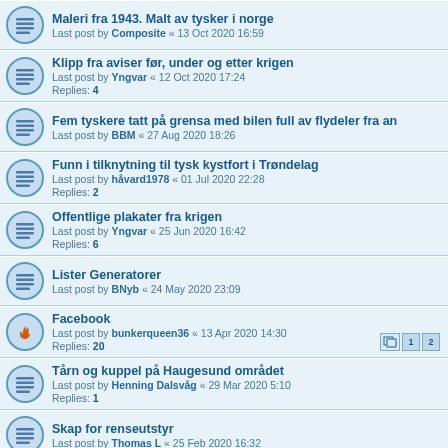Maleri fra 1943. Malt av tysker i norge
Last post by Composite « 13 Oct 2020 16:59
Klipp fra aviser før, under og etter krigen
Last post by Yngvar « 12 Oct 2020 17:24
Replies: 4
Fem tyskere tatt på grensa med bilen full av flydeler fra an
Last post by BBM « 27 Aug 2020 18:26
Funn i tilknytning til tysk kystfort i Trøndelag
Last post by håvard1978 « 01 Jul 2020 22:28
Replies: 2
Offentlige plakater fra krigen
Last post by Yngvar « 25 Jun 2020 16:42
Replies: 6
Lister Generatorer
Last post by BNyb « 24 May 2020 23:09
Facebook
Last post by bunkerqueen36 « 13 Apr 2020 14:30
Replies: 20
Tårn og kuppel på Haugesund området
Last post by Henning Dalsvåg « 29 Mar 2020 5:10
Replies: 1
Skap for renseutstyr
Last post by Thomas L « 25 Feb 2020 16:32
18 German Oktagon mgbunkere nær Stavanger området